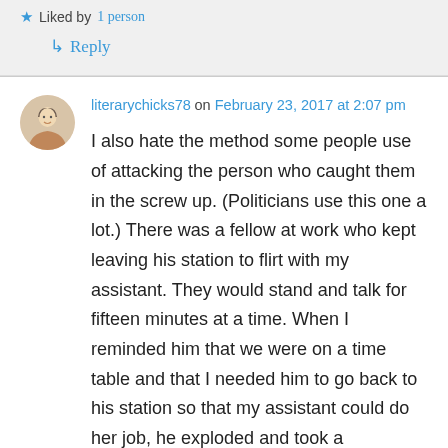★ Liked by 1 person
↳ Reply
literarychicks78 on February 23, 2017 at 2:07 pm
I also hate the method some people use of attacking the person who caught them in the screw up. (Politicians use this one a lot.) There was a fellow at work who kept leaving his station to flirt with my assistant. They would stand and talk for fifteen minutes at a time. When I reminded him that we were on a time table and that I needed him to go back to his station so that my assistant could do her job, he exploded and took a screaming fit at me. A while later, a co-worker caught him hiding instead of doing his